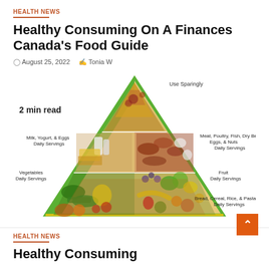HEALTH NEWS
Healthy Consuming On A Finances Canada's Food Guide
August 25, 2022  Tonia W
[Figure (infographic): Food pyramid diagram showing food groups: Use Sparingly (top), Milk/Yogurt/Eggs and Meat/Poultry/Fish/Dry Beans/Eggs/Nuts Daily Servings (second tier), Vegetables and Fruit Daily Servings (third tier), Bread/Cereal/Rice/Pasta Daily Servings (base). Labeled '2 min read'.]
HEALTH NEWS
Healthy Consuming